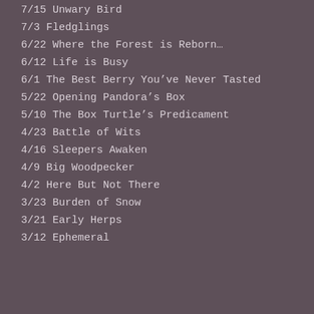7/15 Unwary Bird
7/3 Fledglings
6/22 Where the Forest is Reborn…
6/12 Life is Busy
6/1 The Best Berry You've Never Tasted
5/22 Opening Pandora's Box
5/10 The Box Turtle's Predicament
4/23 Battle of Wits
4/16 Sleepers Awaken
4/9 Big Woodpecker
4/2 Here But Not There
3/23 Burden of Snow
3/21 Early Herps
3/12 Ephemeral